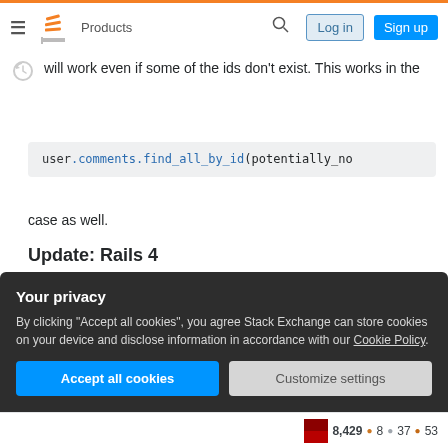≡ [Stack Overflow logo] Products 🔍 Log in Sign up
will work even if some of the ids don't exist. This works in the
user.comments.find_all_by_id(potentially_no
case as well.
Update: Rails 4
Comment.where(id: [2, 3, 5])
Your privacy
By clicking "Accept all cookies", you agree Stack Exchange can store cookies on your device and disclose information in accordance with our Cookie Policy.
Accept all cookies  Customize settings
8,429 ● 8 ● 37 ● 53